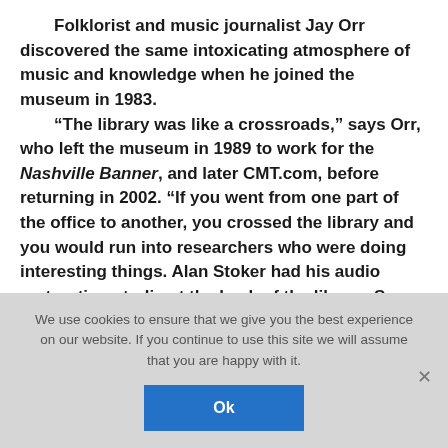Folklorist and music journalist Jay Orr discovered the same intoxicating atmosphere of music and knowledge when he joined the museum in 1983. “The library was like a crossroads,” says Orr, who left the museum in 1989 to work for the Nashville Banner, and later CMT.com, before returning in 2002. “If you went from one part of the office to another, you crossed the library and you would run into researchers who were doing interesting things. Alan Stoker had his audio restoration studio at the back of the library. So you would hear Hank Williams with just his guitar over and over again as Alan worked to get the
We use cookies to ensure that we give you the best experience on our website. If you continue to use this site we will assume that you are happy with it.